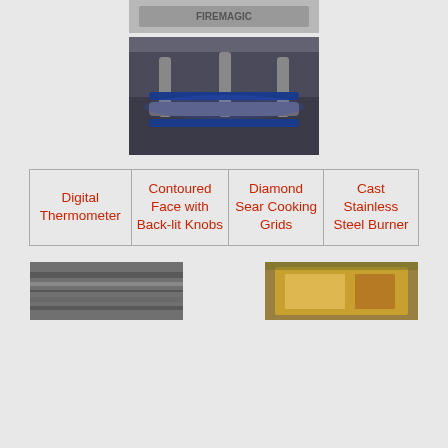[Figure (photo): FireMagic logo/nameplate on a grill, partially visible at top]
[Figure (photo): Close-up of FireMagic grill burner with blue flame accents, stainless steel construction]
| Digital Thermometer | Contoured Face with Back-lit Knobs | Diamond Sear Cooking Grids | Cast Stainless Steel Burner |
| --- | --- | --- | --- |
[Figure (photo): Partial image of grill side panel or lid, bottom-left]
[Figure (photo): Partial image of grill interior showing golden/warm light, bottom-right]